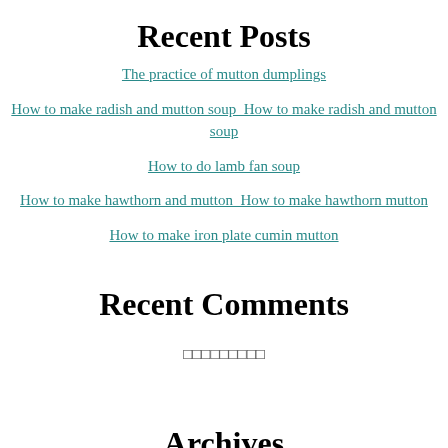Recent Posts
The practice of mutton dumplings
How to make radish and mutton soup  How to make radish and mutton soup
How to do lamb fan soup
How to make hawthorn and mutton  How to make hawthorn mutton
How to make iron plate cumin mutton
Recent Comments
□□□□□□□□□
Archives